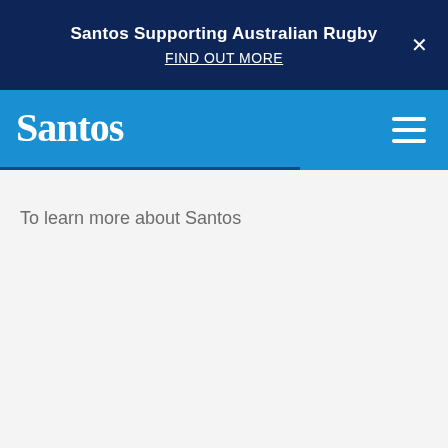Santos Supporting Australian Rugby
FIND OUT MORE
[Figure (logo): Santos company logo in white text on blue navigation bar with hamburger menu icon]
To learn more about Santos